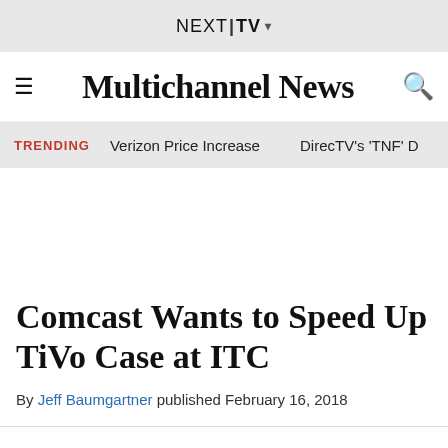NEXT|TV ▾
Multichannel News
TRENDING   Verizon Price Increase   DirecTV's 'TNF' D
Comcast Wants to Speed Up TiVo Case at ITC
By Jeff Baumgartner published February 16, 2018